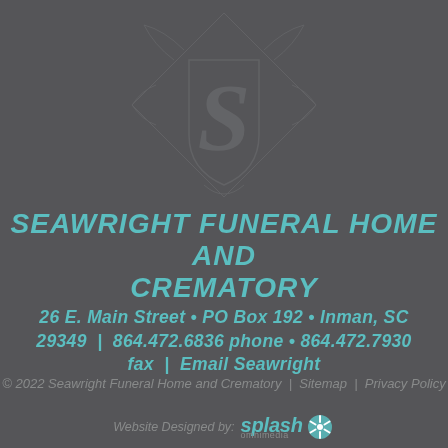[Figure (logo): Seawright Funeral Home decorative monogram logo with ornate 'S' letterform and flourishes, rendered in dark gray watermark style against gray background]
SEAWRIGHT FUNERAL HOME AND CREMATORY
26 E. Main Street • PO Box 192 • Inman, SC 29349 | 864.472.6836 phone • 864.472.7930 fax | Email Seawright
© 2022 Seawright Funeral Home and Crematory | Sitemap | Privacy Policy
Website Designed by: splash omnimedia